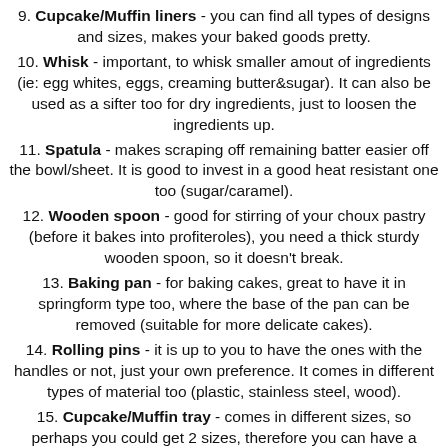9. Cupcake/Muffin liners - you can find all types of designs and sizes, makes your baked goods pretty.
10. Whisk - important, to whisk smaller amout of ingredients (ie: egg whites, eggs, creaming butter&sugar). It can also be used as a sifter too for dry ingredients, just to loosen the ingredients up.
11. Spatula - makes scraping off remaining batter easier off the bowl/sheet. It is good to invest in a good heat resistant one too (sugar/caramel).
12. Wooden spoon - good for stirring of your choux pastry (before it bakes into profiteroles), you need a thick sturdy wooden spoon, so it doesn't break.
13. Baking pan - for baking cakes, great to have it in springform type too, where the base of the pan can be removed (suitable for more delicate cakes).
14. Rolling pins - it is up to you to have the ones with the handles or not, just your own preference. It comes in different types of material too (plastic, stainless steel, wood).
15. Cupcake/Muffin tray - comes in different sizes, so perhaps you could get 2 sizes, therefore you can have a variety of standard and mini cupcakes/muffins.
16. Mechanical Ice cream scoop - this is the best tool you